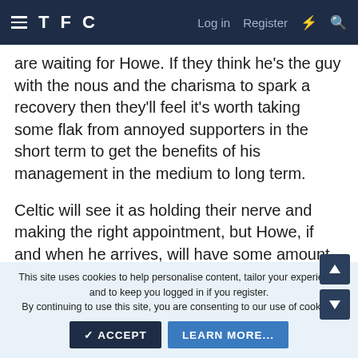TFC — Log in  Register
are waiting for Howe. If they think he's the guy with the nous and the charisma to spark a recovery then they'll feel it's worth taking some flak from annoyed supporters in the short term to get the benefits of his management in the medium to long term.
Celtic will see it as holding their nerve and making the right appointment, but Howe, if and when he arrives, will have some amount of expectation on him. We can't know if he fully realises what it's going to be like or,
This site uses cookies to help personalise content, tailor your experience and to keep you logged in if you register.
By continuing to use this site, you are consenting to our use of cookies.